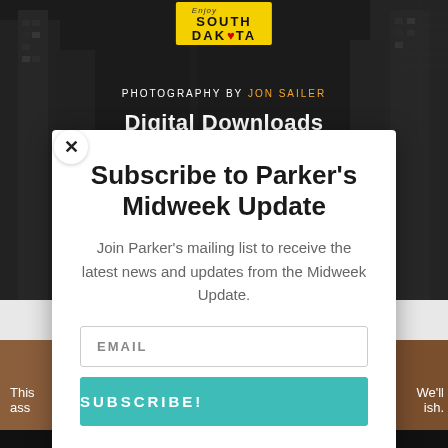[Figure (photo): Background photo of city buildings in black and white with a South Dakota brand logo (yellow sign) and photography credit overlay]
Subscribe to Parker's Midweek Update
Join Parker's mailing list to receive the latest news and updates from the Midweek Update.
EMAIL
SUBSCRIBE!
This
ass
We'll
ish.